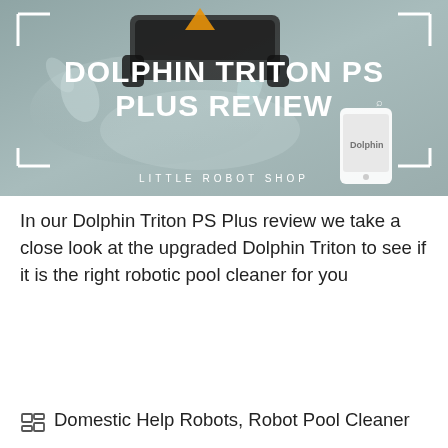[Figure (illustration): Banner image for Dolphin Triton PS Plus review with robot pool cleaner on water, smartphone showing Dolphin app, white corner brackets, bold white title text and subtitle 'Little Robot Shop' on grey background]
In our Dolphin Triton PS Plus review we take a close look at the upgraded Dolphin Triton to see if it is the right robotic pool cleaner for you
Domestic Help Robots, Robot Pool Cleaner